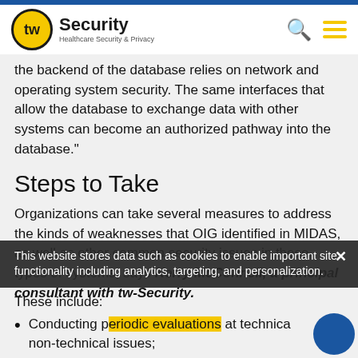tw Security — Healthcare Security & Privacy
the backend of the database relies on network and operating system security. The same interfaces that allow the database to exchange data with other systems can become an authorized pathway into the database."
Steps to Take
Organizations can take several measures to address the kinds of weaknesses that OIG identified in MIDAS, as well as other common security issues in these types of systems, says Kerry McConnell, a principal consultant with tw-Security.
These include:
Conducting periodic evaluations at technical non-technical issues;